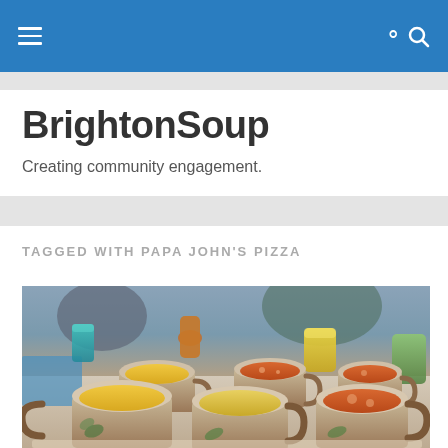BrightonSoup — navigation bar
BrightonSoup
Creating community engagement.
TAGGED WITH PAPA JOHN'S PIZZA
[Figure (photo): Multiple ceramic mugs filled with various soups (yellow/orange butternut squash and red tomato) on a tray, with colourful glasses in the background at a community soup event.]